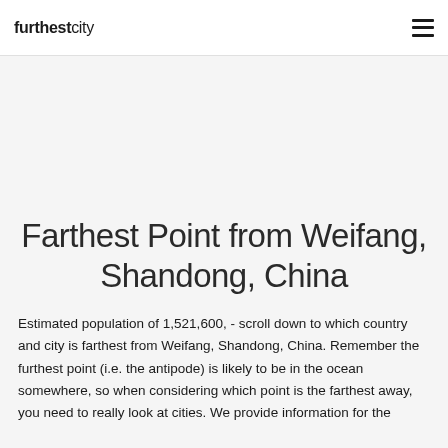furthestcity
Farthest Point from Weifang, Shandong, China
Estimated population of 1,521,600, - scroll down to which country and city is farthest from Weifang, Shandong, China. Remember the furthest point (i.e. the antipode) is likely to be in the ocean somewhere, so when considering which point is the farthest away, you need to really look at cities. We provide information for the